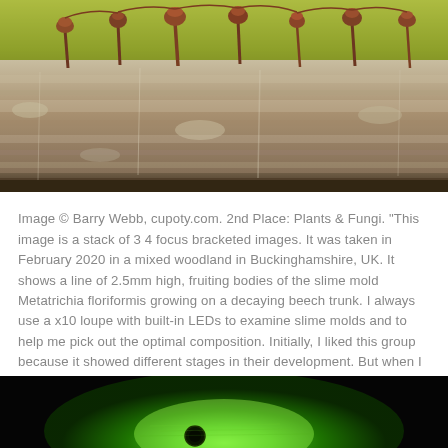[Figure (photo): Close-up macro photograph of a line of fruiting bodies of the slime mold Metatrichia floriformis growing on a decaying beech trunk, showing reddish-brown spore capsules on stalks against a yellow-green background, with detailed bark texture.]
Image © Barry Webb, cupoty.com. 2nd Place: Plants & Fungi. "This image is a stack of 34 focus bracketed images. It was taken in February 2020 in a mixed woodland in Buckinghamshire, UK. It shows a line of 2.5mm high, fruiting bodies of the slime mold Metatrichia floriformis growing on a decaying beech trunk. I always use a x10 loupe with built-in LEDs to examine slime molds and to help me pick out the optimal composition. Initially, I liked this group because it showed different stages in their development. But when I looked through the magnifier, I noticed that the fruiting bodies resembled people standing in a line – the holes in the stems looked like little legs!"
[Figure (photo): Bottom partial photograph showing a glowing green bioluminescent or fluorescent subject against a black background.]